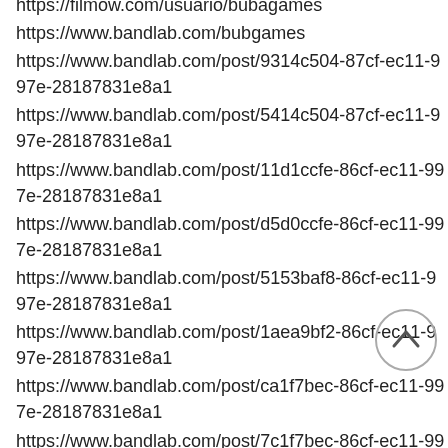https://filmow.com/usuario/bubagames
https://www.bandlab.com/bubgames
https://www.bandlab.com/post/9314c504-87cf-ec11-997e-28187831e8a1
https://www.bandlab.com/post/5414c504-87cf-ec11-997e-28187831e8a1
https://www.bandlab.com/post/11d1ccfe-86cf-ec11-997e-28187831e8a1
https://www.bandlab.com/post/d5d0ccfe-86cf-ec11-997e-28187831e8a1
https://www.bandlab.com/post/5153baf8-86cf-ec11-997e-28187831e8a1
https://www.bandlab.com/post/1aea9bf2-86cf-ec11-997e-28187831e8a1
https://www.bandlab.com/post/ca1f7bec-86cf-ec11-997e-28187831e8a1
https://www.bandlab.com/post/7c1f7bec-86cf-ec11-997e-28187831e8a1
https://buba-games.imgbb.com/
https://www.skillshare.com/profile/Buba-Games/471465395
https://list.ly/bubagames/lists